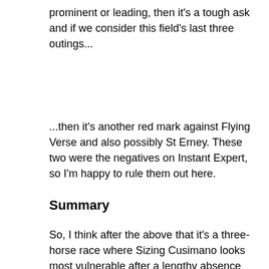prominent or leading, then it's a tough ask and if we consider this field's last three outings...
...then it's another red mark against Flying Verse and also possibly St Erney. These two were the negatives on Instant Expert, so I'm happy to rule them out here.
Summary
So, I think after the above that it's a three-horse race where Sizing Cusimano looks most vulnerable after a lengthy absence and carrying top weight, so that leaves me with From The Heart (currently best priced at 7/2 with Hills) and the fav Get The Appeal (2/1 with